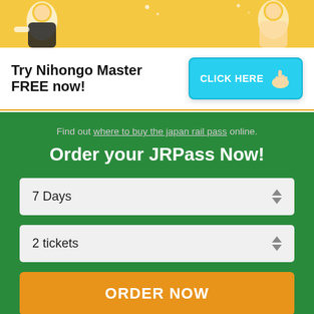[Figure (illustration): Animated characters illustration on yellow background banner]
Try Nihongo Master FREE now!
[Figure (illustration): Blue CLICK HERE button with pointing hand cursor icon]
Find out where to buy the japan rail pass online.
Order your JRPass Now!
7 Days
2 tickets
ORDER NOW